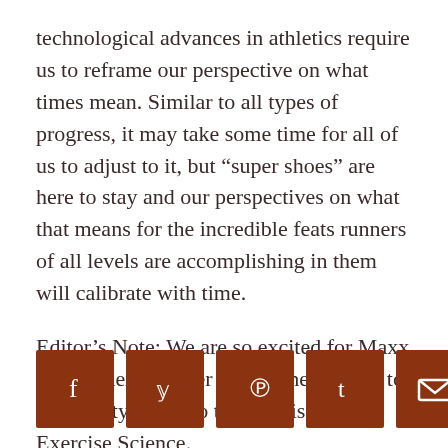technological advances in athletics require us to reframe our perspective on what times mean. Similar to all types of progress, it may take some time for all of us to adjust to it, but “super shoes” are here to stay and our perspectives on what that means for the incredible feats runners of all levels are accomplishing in them will calibrate with time.
Editor’s Note: We are so excited for Maxx and his next chapter as he is headed off to University of Idaho to earn his PhD in Exercise Science.
[Figure (infographic): Social media share buttons: Facebook (f), Twitter (bird/y), Pinterest (p), Tumblr (t), Email (envelope). Brown square buttons in a horizontal row.]